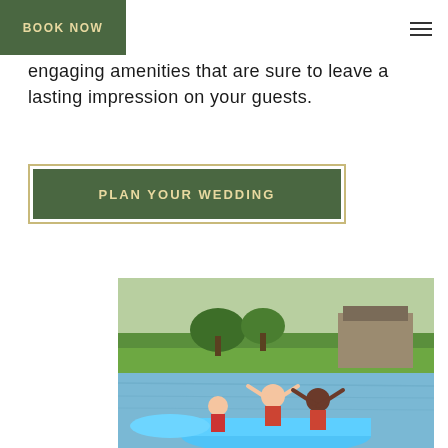BOOK NOW
engaging amenities that are sure to leave a lasting impression on your guests.
PLAN YOUR WEDDING
[Figure (photo): People enjoying paddle boats on a lake with green grass and trees and a building in the background]